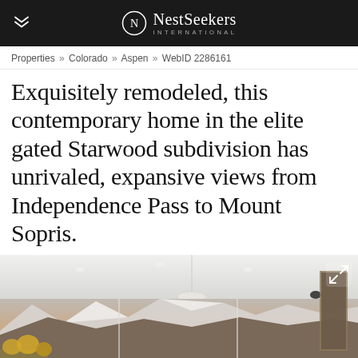NestSeekers INTERNATIONAL
Properties » Colorado » Aspen » WebID 2286161
Exquisitely remodeled, this contemporary home in the elite gated Starwood subdivision has unrivaled, expansive views from Independence Pass to Mount Sopris.
[Figure (photo): Interior photo of a contemporary home showing floor-to-ceiling windows with panoramic mountain views of snow-capped peaks, rolling hills with autumn trees, and a dramatic sky at dusk or dawn. The interior shows white ceilings with recessed lighting, a pendant lamp, and a framed abstract artwork on the right wall.]